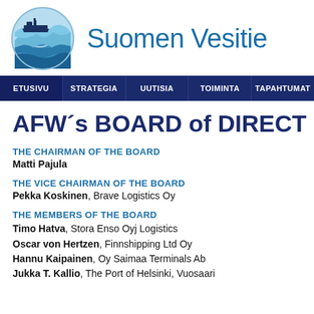[Figure (logo): Suomen Vesitie logo: circular blue emblem with stylized water waves and a ship silhouette, next to text 'Suomen Vesitie' in blue]
ETUSIVU | STRATEGIA | UUTISIA | TOIMINTA | TAPAHTUMAT
AFW´s BOARD of DIRECTORS
THE CHAIRMAN OF THE BOARD
Matti Pajula
THE VICE CHAIRMAN OF THE BOARD
Pekka Koskinen, Brave Logistics Oy
THE MEMBERS OF THE BOARD
Timo Hatva, Stora Enso Oyj Logistics
Oscar von Hertzen, Finnshipping Ltd Oy
Hannu Kaipainen, Oy Saimaa Terminals Ab
Jukka T. Kallio, The Port of Helsinki, Vuosaari